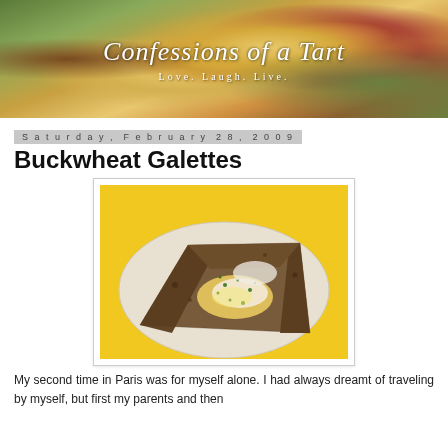[Figure (photo): Blog banner header with impressionist painting of fruit bowl with peaches, overlaid with cursive text 'Confessions of a Tart' and subtitle 'Love. Laugh. Live.']
Saturday, February 28, 2009
Buckwheat Galettes
[Figure (photo): Photograph of buckwheat galette crepe on a white plate with fried egg, melted cheese, and chopped herbs, on yellow background]
My second time in Paris was for myself alone. I had always dreamt of traveling by myself, but first my parents and then